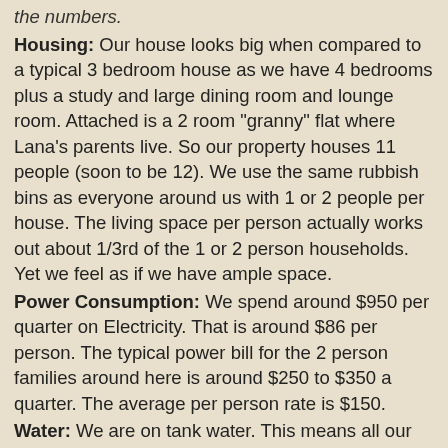the numbers.
Housing: Our house looks big when compared to a typical 3 bedroom house as we have 4 bedrooms plus a study and large dining room and lounge room. Attached is a 2 room "granny" flat where Lana's parents live. So our property houses 11 people (soon to be 12). We use the same rubbish bins as everyone around us with 1 or 2 people per house. The living space per person actually works out about 1/3rd of the 1 or 2 person households. Yet we feel as if we have ample space.
Power Consumption: We spend around $950 per quarter on Electricity. That is around $86 per person. The typical power bill for the 2 person families around here is around $250 to $350 a quarter. The average per person rate is $150.
Water: We are on tank water. This means all our water is derived from rainfall running off the roof into our water tanks.
Food and Groceries: Our monthly supermarket bill is around $1,300 per month. (USD $1,100) That is for 9 people, or $122 per person. This is very efficient as we don't cut back on quality, we just get better value with buying in bulk and re-using leftovers and being more efficient in meal preparation.